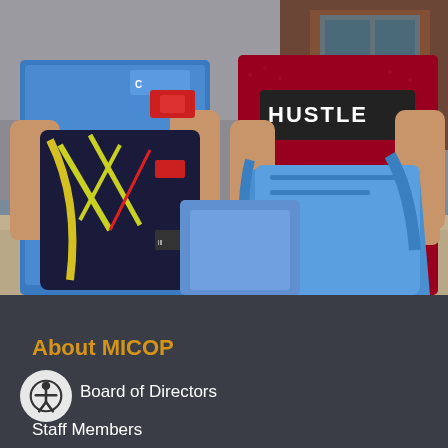[Figure (photo): Two children holding backpacks outdoors. The child on the left wears a blue Champion shirt and holds a colorful dark backpack with yellow straps and a tag. The child on the right wears a red shirt that says HUSTLE and holds a blue backpack. Background shows a building wall.]
About MICOP
Board of Directors
Staff Members